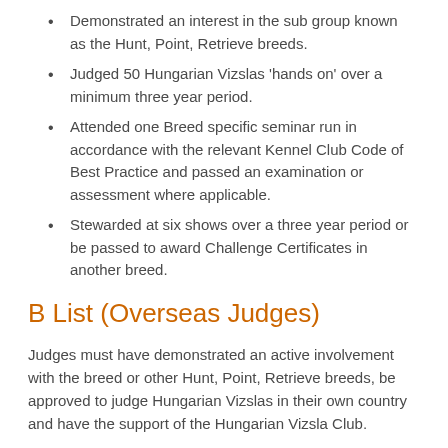Demonstrated an interest in the sub group known as the Hunt, Point, Retrieve breeds.
Judged 50 Hungarian Vizslas 'hands on' over a minimum three year period.
Attended one Breed specific seminar run in accordance with the relevant Kennel Club Code of Best Practice and passed an examination or assessment where applicable.
Stewarded at six shows over a three year period or be passed to award Challenge Certificates in another breed.
B List (Overseas Judges)
Judges must have demonstrated an active involvement with the breed or other Hunt, Point, Retrieve breeds, be approved to judge Hungarian Vizslas in their own country and have the support of the Hungarian Vizsla Club.
C List (Breed Specialists)